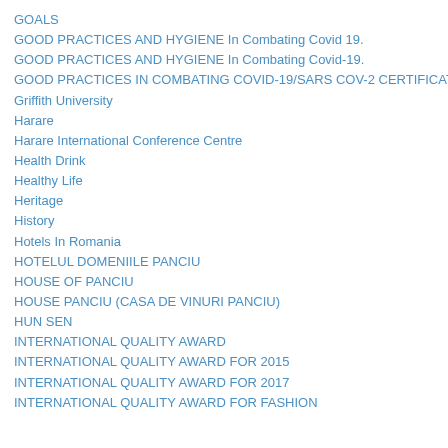GOALS
GOOD PRACTICES AND HYGIENE In Combating Covid 19.
GOOD PRACTICES AND HYGIENE In Combating Covid-19.
GOOD PRACTICES IN COMBATING COVID-19/SARS COV-2 CERTIFICATION
Griffith University
Harare
Harare International Conference Centre
Health Drink
Healthy Life
Heritage
History
Hotels In Romania
HOTELUL DOMENIILE PANCIU
HOUSE OF PANCIU
HOUSE PANCIU (CASA DE VINURI PANCIU)
HUN SEN
INTERNATIONAL QUALITY AWARD
INTERNATIONAL QUALITY AWARD FOR 2015
INTERNATIONAL QUALITY AWARD FOR 2017
INTERNATIONAL QUALITY AWARD FOR FASHION